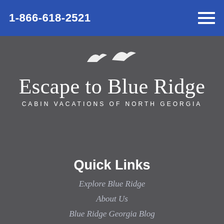1-866-618-2521
[Figure (logo): Escape to Blue Ridge - Cabin Vacations of North Georgia logo with bird silhouettes]
Quick Links
Explore Blue Ridge
About Us
Blue Ridge Georgia Blog
Contact Us
Privacy Policy